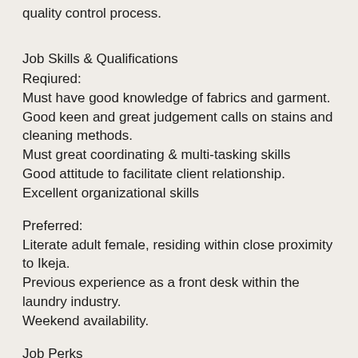quality control process.
Job Skills & Qualifications
Reqiured:
Must have good knowledge of fabrics and garment.
Good keen and great judgement calls on stains and cleaning methods.
Must great coordinating & multi-tasking skills
Good attitude to facilitate client relationship.
Excellent organizational skills
Preferred:
Literate adult female, residing within close proximity to Ikeja.
Previous experience as a front desk within the laundry industry.
Weekend availability.
Job Perks